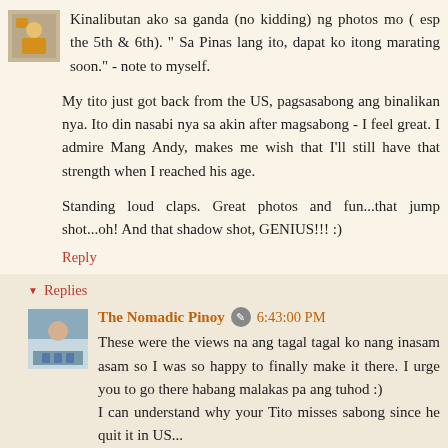Kinalibutan ako sa ganda (no kidding) ng photos mo ( esp the 5th & 6th). " Sa Pinas lang ito, dapat ko itong marating soon." - note to myself.
My tito just got back from the US, pagsasabong ang binalikan nya. Ito din nasabi nya sa akin after magsabong - I feel great. I admire Mang Andy, makes me wish that I'll still have that strength when I reached his age.
Standing loud claps. Great photos and fun...that jump shot...oh! And that shadow shot, GENIUS!!! :)
Reply
Replies
The Nomadic Pinoy  6:43:00 PM
These were the views na ang tagal tagal ko nang inasam asam so I was so happy to finally make it there. I urge you to go there habang malakas pa ang tuhod :)
I can understand why your Tito misses sabong since he quit it in US...